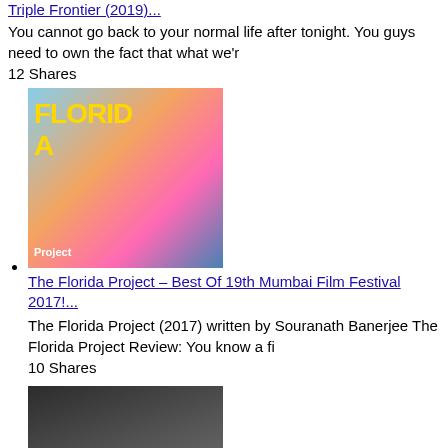Triple Frontier (2019)...
You cannot go back to your normal life after tonight. You guys need to own the fact that what we'r
12 Shares
[Figure (photo): The Florida Project movie thumbnail showing colorful film poster]
The Florida Project – Best Of 19th Mumbai Film Festival 2017!...
The Florida Project (2017) written by Souranath Banerjee The Florida Project Review: You know a fi
10 Shares
[Figure (photo): Simran movie thumbnail showing actress]
Simran Review...
Simran Review written by Souranath Banerjee Simran Review: Kangana Ranaut is a hit but that doesn&
6 Shares
[Figure (photo): Another movie thumbnail with colorful poster]